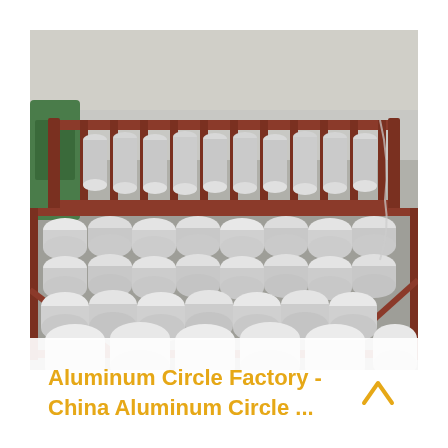[Figure (photo): Factory photo showing large quantities of aluminum circle discs arranged in metal frame pallets/crates in an industrial warehouse setting. The discs are stacked and laid out in rows. A reddish-brown metal rack/crate holds more aluminum circles stacked vertically in the background, while the foreground shows circles laid flat in another metal frame pallet on the factory floor.]
Aluminum Circle Factory - China Aluminum Circle ...